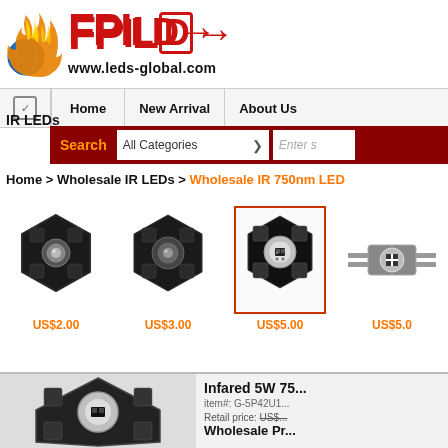[Figure (logo): FPI LED logo with flame graphic and www.leds-global.com URL]
Home | New Arrival | About Us
Search  All Categories  Enter search
IR LEDs
Home > Wholesale IR LEDs > Wholesale IR 750nm LED
[Figure (photo): Product thumbnails: 1W IR LED on star PCB US$2.00, 3W IR LED on star PCB US$3.00, 5W IR LED on star PCB US$5.00 (selected), IR LED component US$5.00+]
[Figure (photo): Large product photo of Infrared 5W 750nm LED on star PCB]
Infared 5W 75...
item#: G-5P42U1...
Retail price: US$... Wholesale Pr...